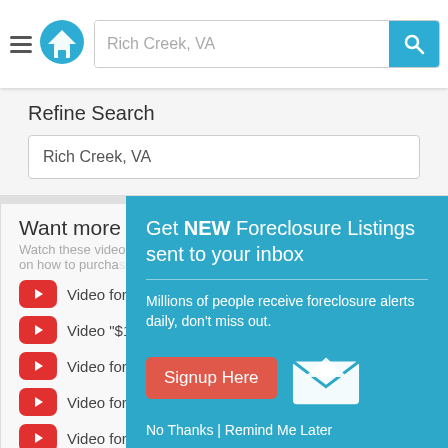Rich Creek, VA
Refine Search
Rich Creek, VA
Want more in[formation]
Watch these video[s] on how to purcha[se]
Video for Fore[closure]
Video "$100 D[own"]
Video for HU[D]
Video for Sha[]
Video for As-Is homes
Video for Preforeclosures
[Figure (screenshot): Popup modal: Get NEW Foreclosure Listings sent to your inbox. Millions of people receive foreclosure alerts daily, don't miss out. Signup Here button. No Thanks | Remind Me Later links.]
Get NEW Foreclosure Listings sent to your inbox
Millions of people receive foreclosure alerts daily, don't miss out.
Signup Here
No Thanks | Remind Me Later